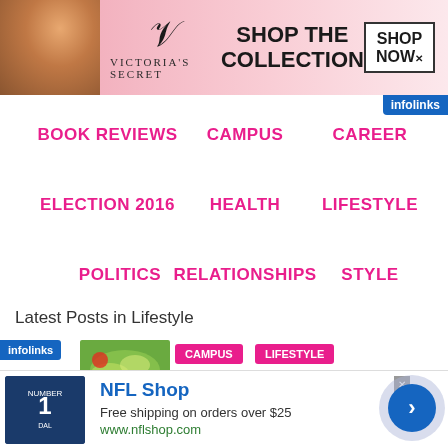[Figure (photo): Victoria's Secret advertisement banner with model, VS logo, 'SHOP THE COLLECTION' text and 'SHOP NOW' button]
BOOK REVIEWS
CAMPUS
CAREER
ELECTION 2016
HEALTH
LIFESTYLE
POLITICS
RELATIONSHIPS
STYLE
Latest Posts in Lifestyle
[Figure (photo): Food/salad thumbnail image with infolinks badge, CAMPUS and LIFESTYLE tags]
[Figure (photo): NFL Shop advertisement with jersey image, free shipping offer, and navigation arrow]